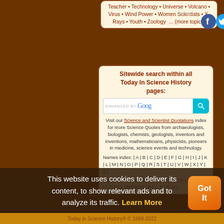Teacher • Technology • Universe • Volcano • Virus • Wind Power • Women Scientists • X-Rays • Youth • Zoology ... (more topics)
Sitewide search within all Today In Science History pages:
Visit our Science and Scientist Quotations index for more Science Quotes from archaeologists, biologists, chemists, geologists, inventors and inventions, mathematicians, physicists, pioneers in medicine, science events and technology.
Names index: | A | B | C | D | E | F | G | H | I | J | K | L | M | N | O | P | Q | R | S | T | U | V | W | X | Y | Z |
Categories index: | 1 | 2 | A | B | C | D | E | F | G | H | I | J | K | L | M | N | O | P | ... X | Y | Z |
This website uses cookies to deliver its content, to show relevant ads and to analyze its traffic. Learn More
Today in Science History® © 1999-2022